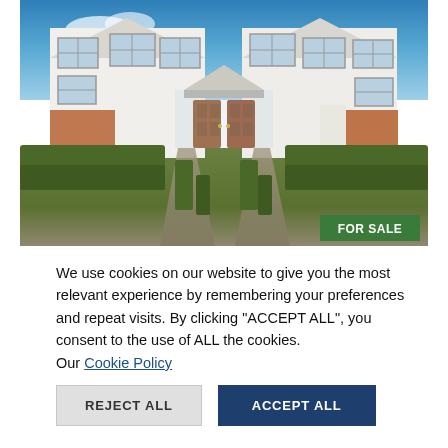[Figure (photo): Exterior photo of a white semi-detached house with brick lower sections, brown front doors, multiple windows, well-trimmed hedges and garden path leading to the doors. Blue sky visible in background. A green 'FOR SALE' badge is overlaid in the bottom-right corner of the image.]
We use cookies on our website to give you the most relevant experience by remembering your preferences and repeat visits. By clicking "ACCEPT ALL", you consent to the use of ALL the cookies.
Our Cookie Policy
REJECT ALL
ACCEPT ALL